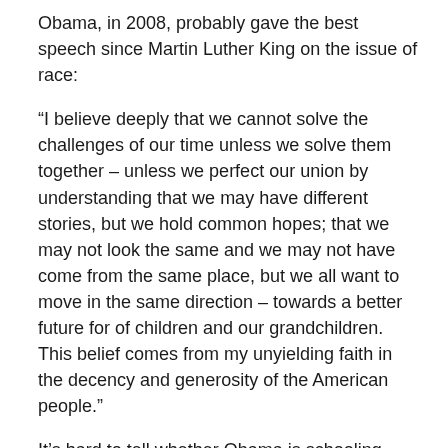Obama, in 2008, probably gave the best speech since Martin Luther King on the issue of race:
“I believe deeply that we cannot solve the challenges of our time unless we solve them together – unless we perfect our union by understanding that we may have different stories, but we hold common hopes; that we may not look the same and we may not have come from the same place, but we all want to move in the same direction – towards a better future for of children and our grandchildren. This belief comes from my unyielding faith in the decency and generosity of the American people.”
It’s hard to tell whether Obama is schooling prospective Trump voters or identity politics liberals in this appeal, but let’s hope it’s a little of both. We need to stop the nonsense, see the good in each other, and get to work.